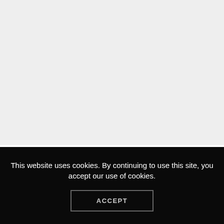This website uses cookies. By continuing to use this site, you accept our use of cookies.
ACCEPT